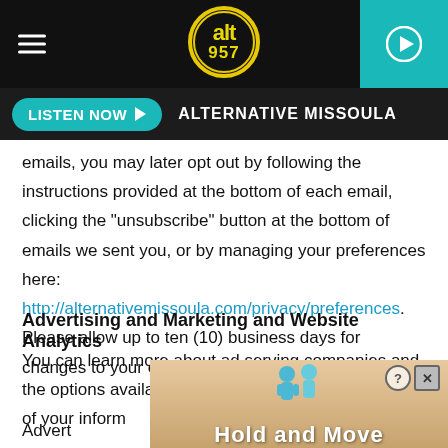[Figure (screenshot): Alt 95.7 radio station app top navigation bar with hamburger menu, circular logo, and teal play button]
[Figure (screenshot): Listen Now button bar with teal rounded button and station name ALTERNATIVE MISSOULA]
emails, you may later opt out by following the instructions provided at the bottom of each email, clicking the "unsubscribe" button at the bottom of emails we sent you, or by managing your preferences here: http://alternativemissoula.com/privacy/preferences. Please allow up to ten (10) business days for changes to your email preferences to take effect.
Advertising and Marketing and Website Analytics
You can learn more about ad serving companies and the options available to limit their collection and use of your inform
Advert                                                                                               nd the
[Figure (screenshot): Mobile advertisement overlay showing Hold and Move app/game with cartoon characters on a sandy background with close button]